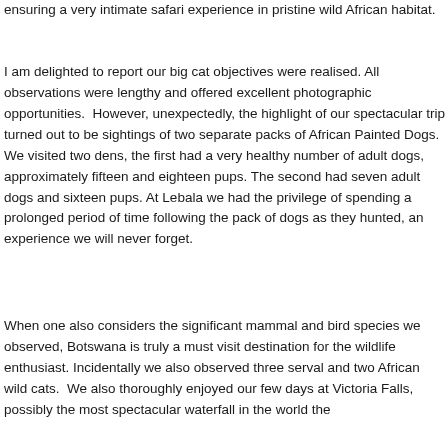ensuring a very intimate safari experience in pristine wild African habitat.
I am delighted to report our big cat objectives were realised. All observations were lengthy and offered excellent photographic opportunities. However, unexpectedly, the highlight of our spectacular trip turned out to be sightings of two separate packs of African Painted Dogs. We visited two dens, the first had a very healthy number of adult dogs, approximately fifteen and eighteen pups. The second had seven adult dogs and sixteen pups. At Lebala we had the privilege of spending a prolonged period of time following the pack of dogs as they hunted, an experience we will never forget.
When one also considers the significant mammal and bird species we observed, Botswana is truly a must visit destination for the wildlife enthusiast. Incidentally we also observed three serval and two African wild cats. We also thoroughly enjoyed our few days at Victoria Falls, possibly the most spectacular waterfall in the world the